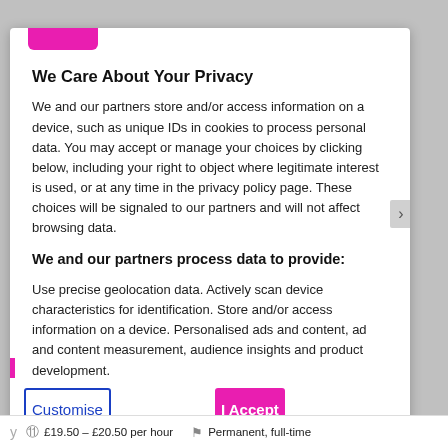We Care About Your Privacy
We and our partners store and/or access information on a device, such as unique IDs in cookies to process personal data. You may accept or manage your choices by clicking below, including your right to object where legitimate interest is used, or at any time in the privacy policy page. These choices will be signaled to our partners and will not affect browsing data.
We and our partners process data to provide:
Use precise geolocation data. Actively scan device characteristics for identification. Store and/or access information on a device. Personalised ads and content, ad and content measurement, audience insights and product development.
List of Partners (Vendors)
Customise
I Accept
£19.50 - £20.50 per hour    Permanent, full-time